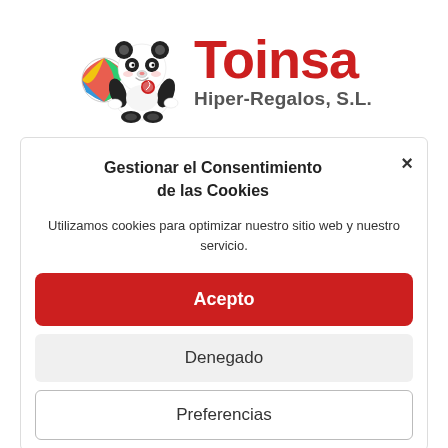[Figure (logo): Toinsa Hiper-Regalos S.L. logo with panda bear mascot holding a lollipop next to a colorful beach ball, with 'Toinsa' in large red bold text and 'Hiper-Regalos, S.L.' in gray below]
Gestionar el Consentimiento de las Cookies
Utilizamos cookies para optimizar nuestro sitio web y nuestro servicio.
Acepto
Denegado
Preferencias